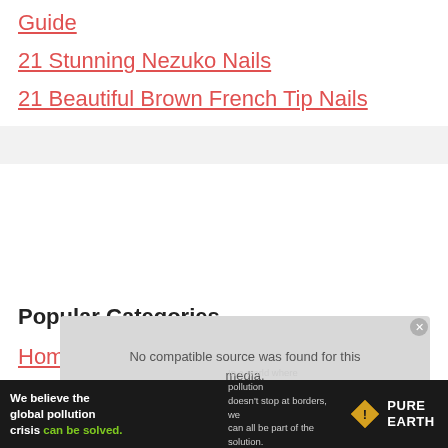Guide
21 Stunning Nezuko Nails
21 Beautiful Brown French Tip Nails
Popular Categories
Home & Living
Nails
[Figure (other): No compatible source was found for this media. overlay message on gray background with close button]
[Figure (other): Pure Earth advertisement banner: We believe the global pollution crisis can be solved. In a world where pollution doesn't stop at borders, we can all be part of the solution. JOIN US.]